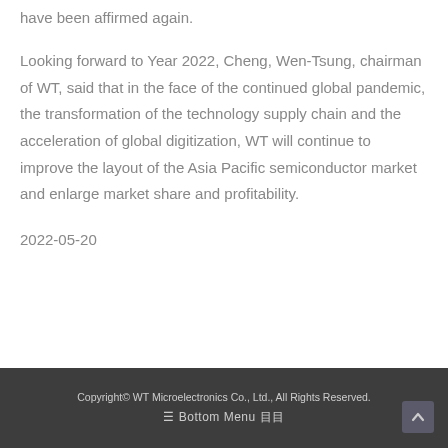have been affirmed again.
Looking forward to Year 2022, Cheng, Wen-Tsung, chairman of WT, said that in the face of the continued global pandemic, the transformation of the technology supply chain and the acceleration of global digitization, WT will continue to improve the layout of the Asia Pacific semiconductor market and enlarge market share and profitability.
2022-05-20
Copyright© WT Microelectronics Co., Ltd., All Rights Reserved.
≡ Bottom Menu 目目